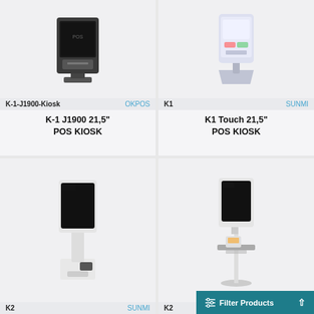[Figure (photo): K-1 J1900 POS Kiosk product photo - dark colored kiosk terminal on stand]
K-1-J1900-Kiosk OKPOS
K-1 J1900 21,5"
POS KIOSK
[Figure (photo): K1 Touch 21,5 POS Kiosk by SUNMI - light colored tablet-style kiosk on angled stand]
K1 SUNMI
K1 Touch 21,5"
POS KIOSK
[Figure (photo): K2 by SUNMI - tall kiosk with large black screen on white base unit with card reader]
K2 SUNMI
[Figure (photo): K2 kiosk on pole stand with payment terminal and shelf]
K2